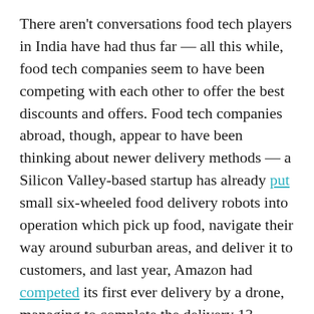There aren't conversations food tech players in India have had thus far — all this while, food tech companies seem to have been competing with each other to offer the best discounts and offers. Food tech companies abroad, though, appear to have been thinking about newer delivery methods — a Silicon Valley-based startup has already put small six-wheeled food delivery robots into operation which pick up food, navigate their way around suburban areas, and deliver it to customers, and last year, Amazon had competed its first ever delivery by a drone, managing to complete the delivery 13 minutes after the order was received.
There's also perhaps been no better time to get into the drone business in India. On 1st December,